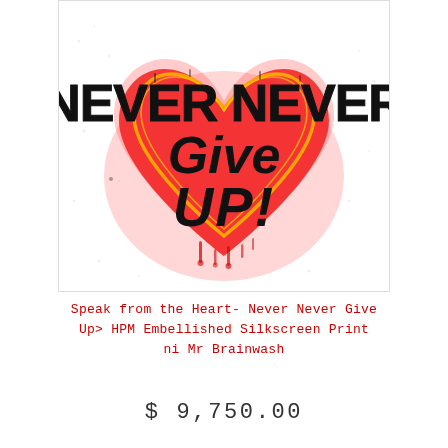[Figure (illustration): Artwork showing a red spray-painted heart outline with black graffiti-style text reading 'NEVER NEVER Give UP!' on a white background. The heart has a neon orange-yellow inner outline and dripping paint effects.]
Speak from the Heart- Never Never Give Up> HPM Embellished Silkscreen Print ni Mr Brainwash
$ 9,750.00